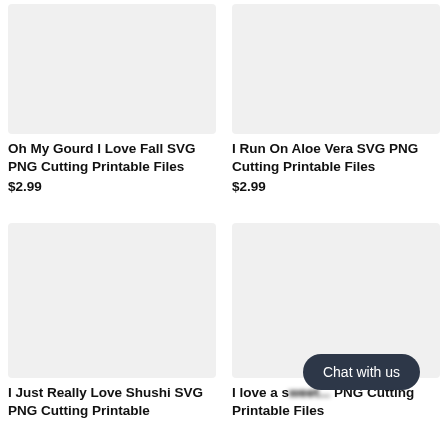[Figure (photo): Product image placeholder light gray background - Oh My Gourd I Love Fall SVG]
Oh My Gourd I Love Fall SVG PNG Cutting Printable Files
$2.99
[Figure (photo): Product image placeholder light gray background - I Run On Aloe Vera SVG]
I Run On Aloe Vera SVG PNG Cutting Printable Files
$2.99
[Figure (photo): Product image placeholder light gray background - I Just Really Love Shushi SVG]
I Just Really Love Shushi SVG PNG Cutting Printable
[Figure (photo): Product image placeholder light gray background - I love a sweet... SVG]
I love a sweet... SVG PNG Cutting Printable Files